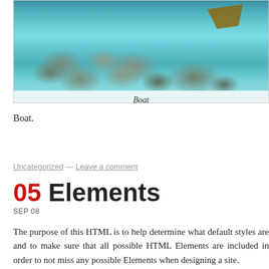[Figure (photo): Photo of a boat over clear shallow water with rocky/pebbly seabed visible through turquoise water]
Boat
Boat.
Uncategorized — Leave a comment
05 Elements
SEP 08
The purpose of this HTML is to help determine what default styles are and to make sure that all possible HTML Elements are included in order to not miss any possible Elements when designing a site.